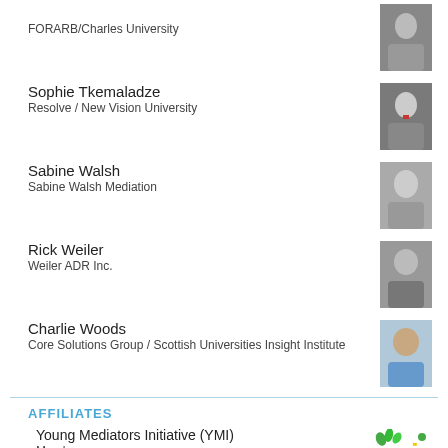FORARB/Charles University
[Figure (photo): Portrait photo of person associated with FORARB/Charles University]
Sophie Tkemaladze
Resolve / New Vision University
[Figure (photo): Portrait photo of Sophie Tkemaladze]
Sabine Walsh
Sabine Walsh Mediation
[Figure (photo): Portrait photo of Sabine Walsh]
Rick Weiler
Weiler ADR Inc.
[Figure (photo): Portrait photo of Rick Weiler]
Charlie Woods
Core Solutions Group / Scottish Universities Insight Institute
[Figure (photo): Portrait photo of Charlie Woods]
AFFILIATES
Young Mediators Initiative (YMI)
Members
[Figure (logo): Young Mediators Initiative (YMI) logo]
RELATED SITES